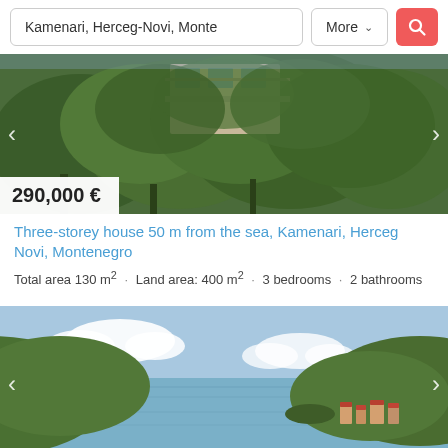Kamenari, Herceg-Novi, Monte
More ▾
[Figure (photo): Three-storey house surrounded by trees, viewed from below, with balconies visible above dense green foliage.]
290,000 €
Three-storey house 50 m from the sea, Kamenari, Herceg Novi, Montenegro
Total area 130 m² · Land area: 400 m² · 3 bedrooms · 2 bathrooms
[Figure (photo): Aerial view of a bay with calm water, green hills, a small town with red-roofed buildings on the right, and blue sky with scattered clouds.]